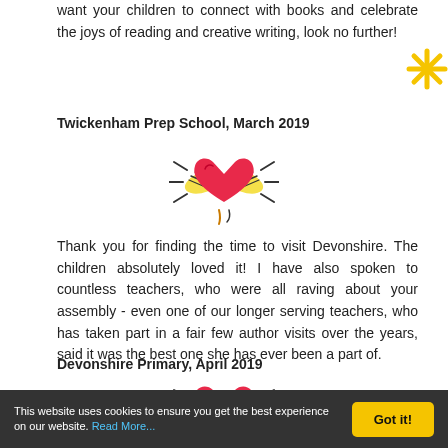want your children to connect with books and celebrate the joys of reading and creative writing, look no further!
Twickenham Prep School, March 2019
[Figure (illustration): Animated flying heart with yellow wings, vibrating motion lines around it]
Thank you for finding the time to visit Devonshire. The children absolutely loved it! I have also spoken to countless teachers, who were all raving about your assembly - even one of our longer serving teachers, who has taken part in a fair few author visits over the years, said it was the best one she has ever been a part of.
Devonshire Primary, April 2019
[Figure (illustration): Animated flying heart with yellow wings, vibrating motion lines around it (second instance)]
This website uses cookies to ensure you get the best experience on our website. Read More...